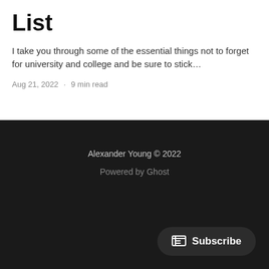List
I take you through some of the essential things not to forget for university and college and be sure to stick…
Aug 21, 2022 · 9 min read
Alexander Young © 2022
Powered by Ghost